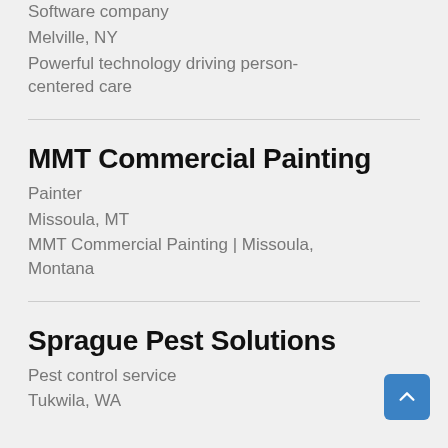Software company
Melville, NY
Powerful technology driving person-centered care
MMT Commercial Painting
Painter
Missoula, MT
MMT Commercial Painting | Missoula, Montana
Sprague Pest Solutions
Pest control service
Tukwila, WA